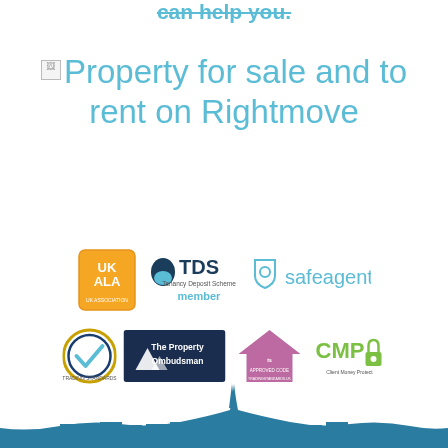can help you.
Property for sale and to rent on Rightmove
[Figure (logo): Row of accreditation logos: UK ALA (UK Association of Letting Agents), TDS (Tenancy Deposit Scheme) member, safeagent]
[Figure (logo): Row of accreditation logos: Trading Standards approved checkmark badge, The Property Ombudsman, Approved Code TradingStandards.uk, CMP (Client Money Protect) with padlock]
[Figure (illustration): Teal city skyline silhouette at bottom of page]